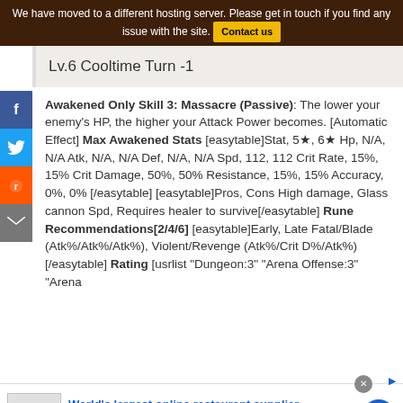We have moved to a different hosting server. Please get in touch if you find any issue with the site. Contact us
Lv.6 Cooltime Turn -1
Awakened Only Skill 3: Massacre (Passive): The lower your enemy's HP, the higher your Attack Power becomes. [Automatic Effect] Max Awakened Stats [easytable]Stat, 5★, 6★ Hp, N/A, N/A Atk, N/A, N/A Def, N/A, N/A Spd, 112, 112 Crit Rate, 15%, 15% Crit Damage, 50%, 50% Resistance, 15%, 15% Accuracy, 0%, 0% [/easytable] [easytable]Pros, Cons High damage, Glass cannon Spd, Requires healer to survive[/easytable] Rune Recommendations[2/4/6] [easytable]Early, Late Fatal/Blade (Atk%/Atk%/Atk%), Violent/Revenge (Atk%/Crit D%/Atk%)[/easytable] Rating [usrlist "Dungeon:3" "Arena Offense:3" "Arena
World's largest online restaurant supplier Popular Restaurant Supply Brands www.webstaurantstore.com